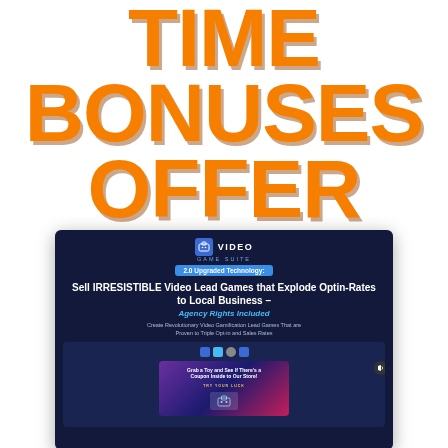TIME BONUSES OFFER
[Figure (screenshot): Screenshot of Video Game Suite website showing headline 'Sell IRRESISTIBLE Video Lead Games that Explode Optin-Rates to Local Business – Agency Rights Included' with a dark blue background, a badge reading '2.0 Upgraded Technology', and an inner screen showing a game card 'Grab a Toy and See If There's a Coupon Inside to Our Store!' with a 'TRY YOUR LUCK' button.]